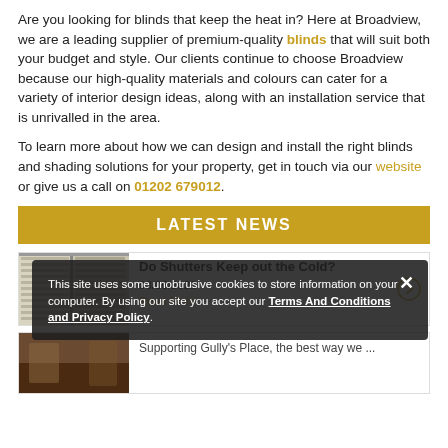Are you looking for blinds that keep the heat in? Here at Broadview, we are a leading supplier of premium-quality blinds that will suit both your budget and style. Our clients continue to choose Broadview because our high-quality materials and colours can cater for a variety of interior design ideas, along with an installation service that is unrivalled in the area.
To learn more about how we can design and install the right blinds and shading solutions for your property, get in touch via our website or give us a call on 01202 679012.
LATEST NEWS
[Figure (photo): Photo of window shutters/blinds next to news article card]
Do Shutters Keep out the Cold?
03/06/2022
Read More
[Figure (photo): Second news article card with dark room photo]
Supporting Gully's Place, the best way we ...
This site uses some unobtrusive cookies to store information on your computer. By using our site you accept our Terms And Conditions and Privacy Policy.